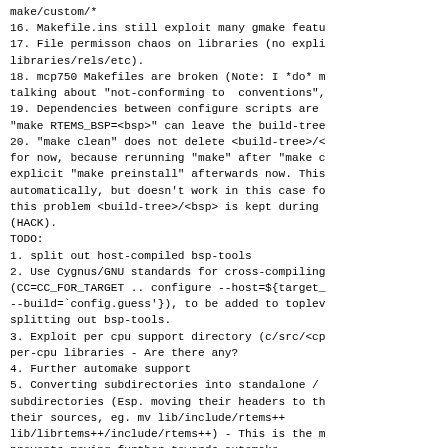make/custom/*
16. Makefile.ins still exploit many gmake featu
17. File permisson chaos on libraries (no expli
libraries/rels/etc).
18. mcp750 Makefiles are broken (Note: I *do* m
talking about "not-conforming to  conventions",
19. Dependencies between configure scripts are 
"make RTEMS_BSP=<bsp>" can leave the build-tree
20. "make clean" does not delete <build-tree>/<
for now, because rerunning "make" after "make c
explicit "make preinstall" afterwards now. This
automatically, but doesn't work in this case fo
this problem <build-tree>/<bsp> is kept during 
(HACK).
TODO:
1. split out host-compiled bsp-tools
2. Use Cygnus/GNU standards for cross-compiling
(CC=CC_FOR_TARGET .. configure --host=${target_
--build=`config.guess'}), to be added to toplev
splitting out bsp-tools.
3. Exploit per cpu support directory (c/src/<cp
per-cpu libraries - Are there any?
4. Further automake support
5. Converting subdirectories into standalone /
subdirectories (Esp. moving their headers to th
their sources, eg. mv lib/include/rtems++
lib/librtems++/include/rtems++) - This is the m
prevents moving further towards automake.
6. Propagating values from *.cfg into Makefiles